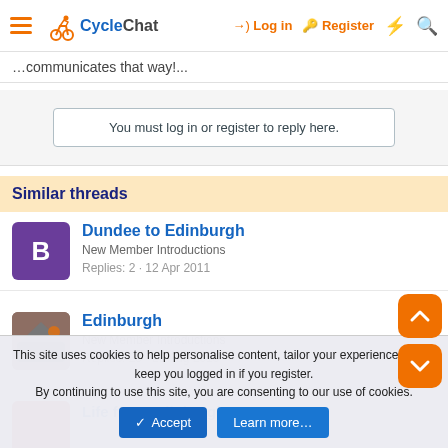CycleChat — Log in | Register
…communicates that way!...
You must log in or register to reply here.
Similar threads
Dundee to Edinburgh
New Member Introductions
Replies: 2 · 12 Apr 2011
Edinburgh
New Member Introductions
Replies: 28 · 29 Aug 2013
This site uses cookies to help personalise content, tailor your experience and to keep you logged in if you register.
By continuing to use this site, you are consenting to our use of cookies.